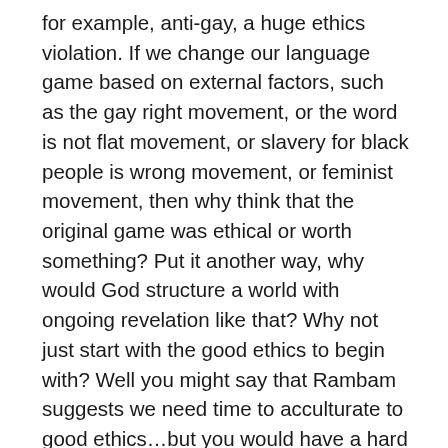for example, anti-gay, a huge ethics violation. If we change our language game based on external factors, such as the gay right movement, or the word is not flat movement, or slavery for black people is wrong movement, or feminist movement, then why think that the original game was ethical or worth something? Put it another way, why would God structure a world with ongoing revelation like that? Why not just start with the good ethics to begin with? Well you might say that Rambam suggests we need time to acculturate to good ethics…but you would have a hard time convincing anyone I fear…The problem is that Prof Ross's position leads back to Prof Marc Shapiro characterization of the unreconstructed traditional OJ worldview